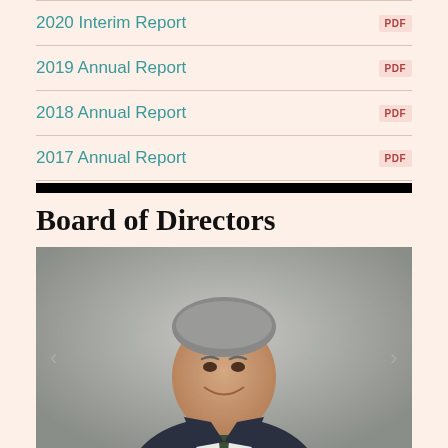2020 Interim Report — PDF
2019 Annual Report — PDF
2018 Annual Report — PDF
2017 Annual Report — PDF
Board of Directors
[Figure (photo): Professional headshot of a middle-aged man with grey hair, wearing a dark suit jacket, white shirt, and dark green tie, smiling, against a grey gradient background. Navigation arrows on left and right sides.]